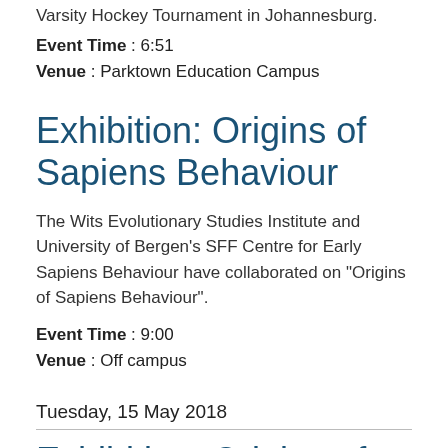Varsity Hockey Tournament in Johannesburg.
Event Time : 6:51
Venue : Parktown Education Campus
Exhibition: Origins of Sapiens Behaviour
The Wits Evolutionary Studies Institute and University of Bergen's SFF Centre for Early Sapiens Behaviour have collaborated on "Origins of Sapiens Behaviour".
Event Time : 9:00
Venue : Off campus
Tuesday, 15 May 2018
Exhibition: Origins of Sa…